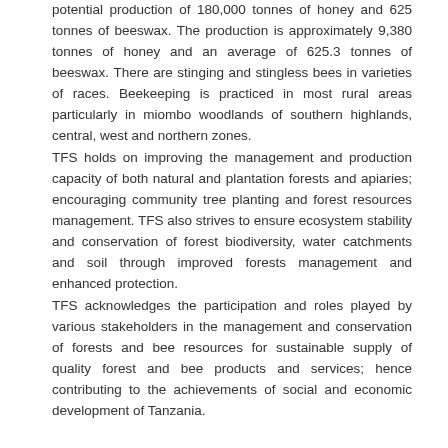potential production of 180,000 tonnes of honey and 625 tonnes of beeswax. The production is approximately 9,380 tonnes of honey and an average of 625.3 tonnes of beeswax. There are stinging and stingless bees in varieties of races. Beekeeping is practiced in most rural areas particularly in miombo woodlands of southern highlands, central, west and northern zones.
TFS holds on improving the management and production capacity of both natural and plantation forests and apiaries; encouraging community tree planting and forest resources management. TFS also strives to ensure ecosystem stability and conservation of forest biodiversity, water catchments and soil through improved forests management and enhanced protection.
TFS acknowledges the participation and roles played by various stakeholders in the management and conservation of forests and bee resources for sustainable supply of quality forest and bee products and services; hence contributing to the achievements of social and economic development of Tanzania.